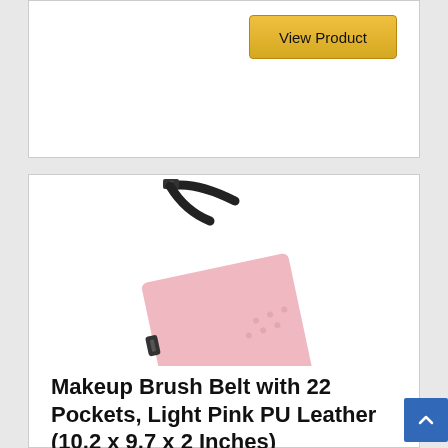[Figure (other): View Product button (gold/yellow) on top product card]
[Figure (photo): Pink PU leather makeup brush belt with 22 pockets and black strap/buckle, shown at an angle]
Makeup Brush Belt with 22 Pockets, Light Pink PU Leather (10.2 x 9.7 x 2 Inches)